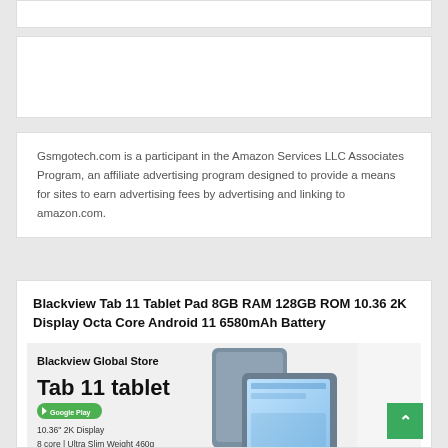Gsmgotech.com is a participant in the Amazon Services LLC Associates Program, an affiliate advertising program designed to provide a means for sites to earn advertising fees by advertising and linking to amazon.com.
Blackview Tab 11 Tablet Pad 8GB RAM 128GB ROM 10.36 2K Display Octa Core Android 11 6580mAh Battery
[Figure (photo): Blackview Global Store product image showing Tab 11 tablet with text: Blackview Global Store, Tab 11 tablet, Google Play badge, 10.36" 2K Display, 8 core | Ultra Slim Weight 460g, with tablet device images]